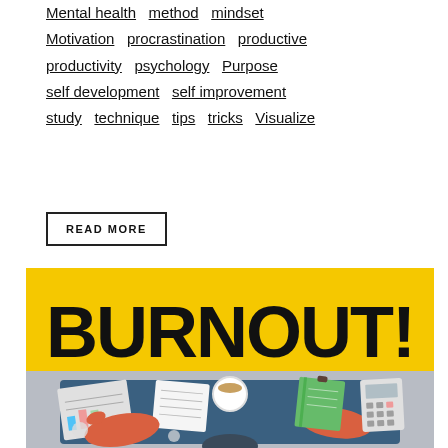Mental health   method   mindset   Motivation   procrastination   productive   productivity   psychology   Purpose   self development   self improvement   study   technique   tips   tricks   Visualize
READ MORE
[Figure (illustration): Burnout! graphic with yellow background showing the word BURNOUT! in large bold black text, below which is an illustration of a person's desk from above with papers, a coffee cup, a green notebook, a calculator, and hands reaching over the desk.]